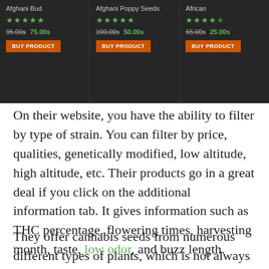[Figure (screenshot): Dark-themed e-commerce product listing showing three products: Afghani Bud (5 stars, 95.00s 75.00s), Afghani Poppy Seeds (5 stars, 100.00s 50.00s), and African (4.5 stars, 65.00s 25.00s), each with a BUY PRODUCT button.]
On their website, you have the ability to filter by type of strain. You can filter by price, qualities, genetically modified, low altitude, high altitude, etc. Their products go in a great deal if you click on the additional information tab. It gives information such as THC percentage, flowering times, harvesting month, taste, low odor, and buzz length.
They offer cannabis seeds from numerous different types of plants, which is not always the case. Additionally, they offer coca plant seeds,